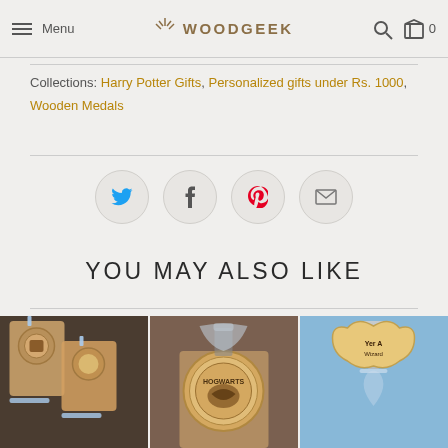Menu | WOODGEEK | Search | Cart 0
Collections: Harry Potter Gifts, Personalized gifts under Rs. 1000, Wooden Medals
[Figure (other): Social share icons: Twitter, Facebook, Pinterest, Email — each in a light grey circle]
YOU MAY ALSO LIKE
[Figure (photo): Three product photos of wooden medals/keychains: left shows multiple ornate wooden medals with ribbons, center shows a round Hogwarts shield wooden medal, right shows a wooden keychain with 'Yer A Wizard' text]
[Figure (photo): Center product: round Hogwarts themed wooden medal with white ribbon, on wooden surface]
[Figure (photo): Right product: wooden keychain reading 'Yer A Wizard' with white ribbon on blue background]